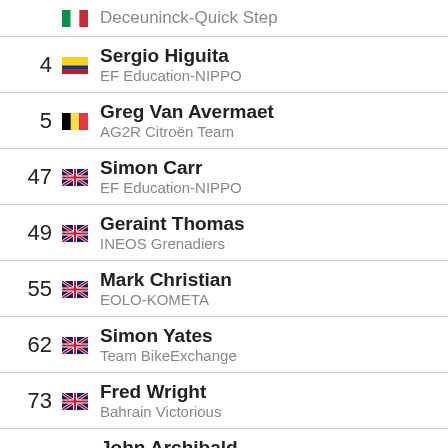| # | Flag | Rider / Team |
| --- | --- | --- |
|  |  | Deceuninck-Quick Step |
| 4 | 🇨🇴 | Sergio Higuita
EF Education-NIPPO |
| 5 | 🇧🇪 | Greg Van Avermaet
AG2R Citroën Team |
| 47 | 🇬🇧 | Simon Carr
EF Education-NIPPO |
| 49 | 🇬🇧 | Geraint Thomas
INEOS Grenadiers |
| 55 | 🇬🇧 | Mark Christian
EOLO-KOMETA |
| 62 | 🇬🇧 | Simon Yates
Team BikeExchange |
| 73 | 🇬🇧 | Fred Wright
Bahrain Victorious |
| 111 | 🇬🇧 | John Archibald
EOLO-KOMETA |
Complete results ...